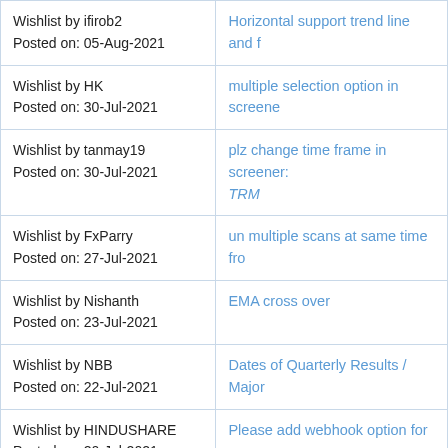| Author/Date | Topic |
| --- | --- |
| Wishlist by ifirob2
Posted on: 05-Aug-2021 | Horizontal support trend line and f... |
| Wishlist by HK
Posted on: 30-Jul-2021 | multiple selection option in screene... |
| Wishlist by tanmay19
Posted on: 30-Jul-2021 | plz change time frame in screener...
TRM |
| Wishlist by FxParry
Posted on: 27-Jul-2021 | un multiple scans at same time fro... |
| Wishlist by Nishanth
Posted on: 23-Jul-2021 | EMA cross over |
| Wishlist by NBB
Posted on: 22-Jul-2021 | Dates of Quarterly Results / Major... |
| Wishlist by HINDUSHARE
Posted on: 20-Jul-2021 | Please add webhook option for sc... |